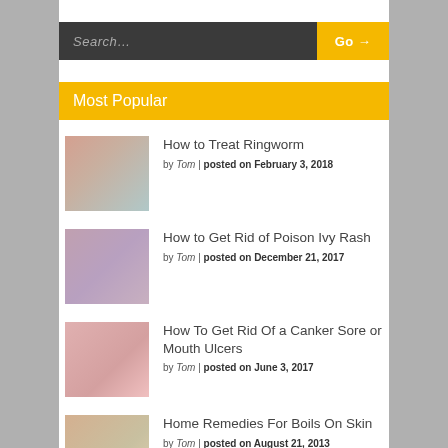Search...
Go →
Most Popular
How to Treat Ringworm
by Tom | posted on February 3, 2018
How to Get Rid of Poison Ivy Rash
by Tom | posted on December 21, 2017
How To Get Rid Of a Canker Sore or Mouth Ulcers
by Tom | posted on June 3, 2017
Home Remedies For Boils On Skin
by Tom | posted on August 21, 2013